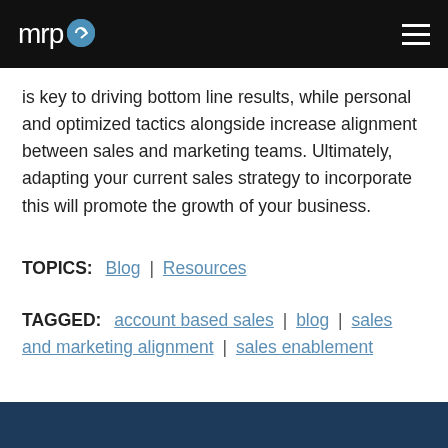mrp [logo icon]
is key to driving bottom line results, while personal and optimized tactics alongside increase alignment between sales and marketing teams. Ultimately, adapting your current sales strategy to incorporate this will promote the growth of your business.
TOPICS: Blog | Resources
TAGGED: account based sales | blog | sales and marketing alignment | sales enablement
Read Next...